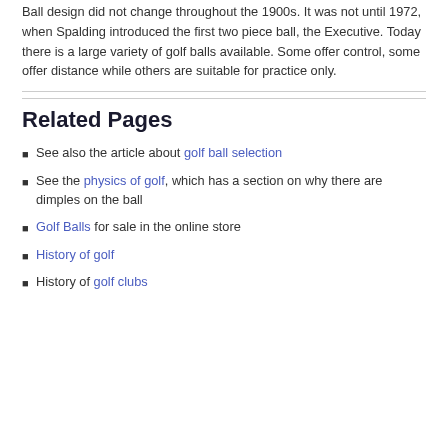Ball design did not change throughout the 1900s. It was not until 1972, when Spalding introduced the first two piece ball, the Executive. Today there is a large variety of golf balls available. Some offer control, some offer distance while others are suitable for practice only.
Related Pages
See also the article about golf ball selection
See the physics of golf, which has a section on why there are dimples on the ball
Golf Balls for sale in the online store
History of golf
History of golf clubs